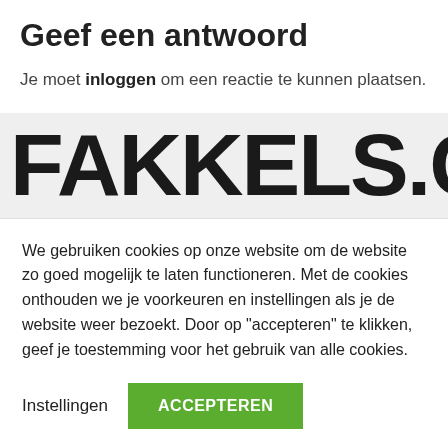Geef een antwoord
Je moet inloggen om een reactie te kunnen plaatsen.
[Figure (logo): FAKKELS.com logo in large bold black uppercase text on gray background]
We gebruiken cookies op onze website om de website zo goed mogelijk te laten functioneren. Met de cookies onthouden we je voorkeuren en instellingen als je de website weer bezoekt. Door op "accepteren" te klikken, geef je toestemming voor het gebruik van alle cookies.
Instellingen   ACCEPTEREN